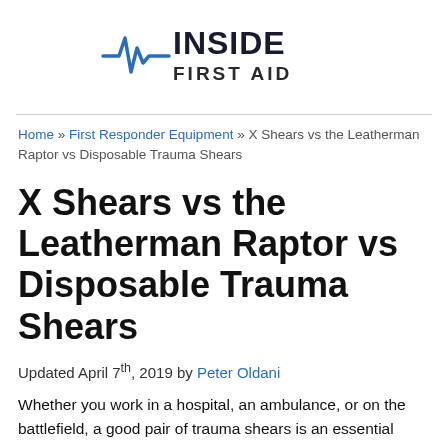[Figure (logo): Inside First Aid logo with a heartbeat/pulse line graphic and bold text reading INSIDE FIRST AID]
Home » First Responder Equipment » X Shears vs the Leatherman Raptor vs Disposable Trauma Shears
X Shears vs the Leatherman Raptor vs Disposable Trauma Shears
Updated April 7th, 2019 by Peter Oldani
Whether you work in a hospital, an ambulance, or on the battlefield, a good pair of trauma shears is an essential